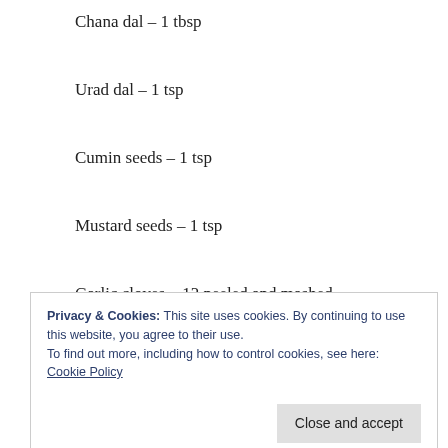Chana dal – 1 tbsp
Urad dal – 1 tsp
Cumin seeds – 1 tsp
Mustard seeds – 1 tsp
Garlic cloves – 12 peeled and mashed
Broken red chilles – 6 pieces
Curry leaves – few
Privacy & Cookies: This site uses cookies. By continuing to use this website, you agree to their use.
To find out more, including how to control cookies, see here:
Cookie Policy

Close and accept
Turmeric – 1/4 tsp